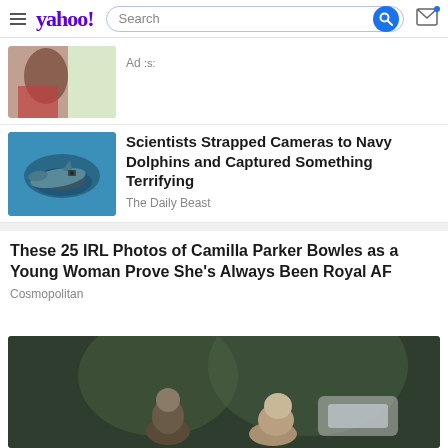yahoo! [Search bar] [Mail icon]
Ad s:
Scientists Strapped Cameras to Navy Dolphins and Captured Something Terrifying
The Daily Beast
These 25 IRL Photos of Camilla Parker Bowles as a Young Woman Prove She's Always Been Royal AF
Cosmopolitan
[Figure (photo): Partial photo of person near window (cropped top article image)]
[Figure (photo): Underwater photo of a dolphin with a camera strapped to it, swimming in blue water]
[Figure (photo): Photo of two people from behind outdoors, dark/blurred background, partial view at bottom of page]